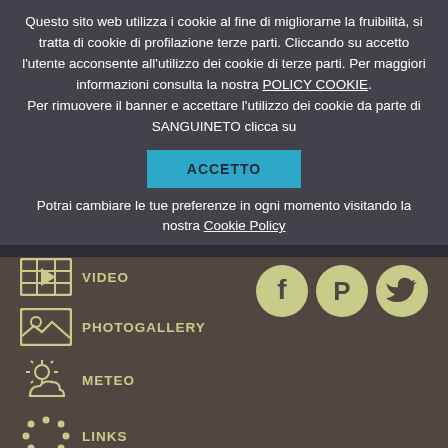Questo sito web utilizza i cookie al fine di migliorarne la fruibilità, si tratta di cookie di profilazione terze parti. Cliccando su accetto l'utente acconsente all'utilizzo dei cookie di terze parti. Per maggiori informazioni consulta la nostra POLICY COOKIE. Per rimuovere il banner e accettare l'utilizzo dei cookie da parte di SANGUINETO clicca su ACCETTO
Potrai cambiare le tue preferenze in ogni momento visitando la nostra Cookie Policy
VIDEO
PHOTOGALLERY
METEO
LINKS
[Figure (other): Social media icons: Facebook, Pinterest, Twitter in olive/yellow-green circles]